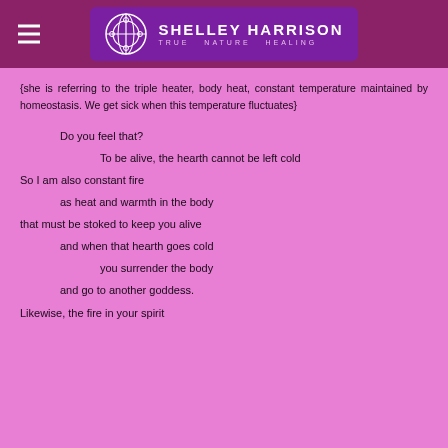Shelley Harrison – True Nature Healing
{she is referring to the triple heater, body heat, constant temperature maintained by homeostasis. We get sick when this temperature fluctuates}
Do you feel that?
To be alive, the hearth cannot be left cold
So I am also constant fire
as heat and warmth in the body
that must be stoked to keep you alive
and when that hearth goes cold
you surrender the body
and go to another goddess.
Likewise, the fire in your spirit